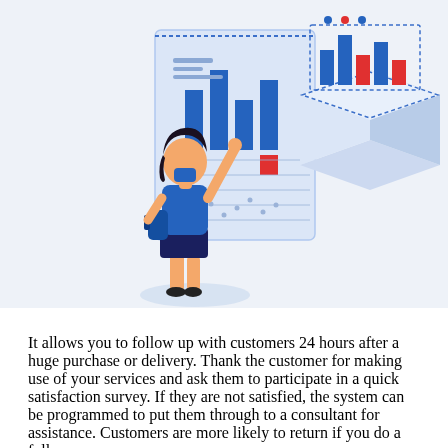[Figure (illustration): Two isometric illustrations: left shows a woman in a blue uniform reaching up to interact with a large whiteboard/dashboard with blue and red chart bars; right shows an isometric 3D box/platform with red and blue bar chart elements on top. Background is light blue-grey.]
It allows you to follow up with customers 24 hours after a huge purchase or delivery. Thank the customer for making use of your services and ask them to participate in a quick satisfaction survey. If they are not satisfied, the system can be programmed to put them through to a consultant for assistance. Customers are more likely to return if you do a follow up...